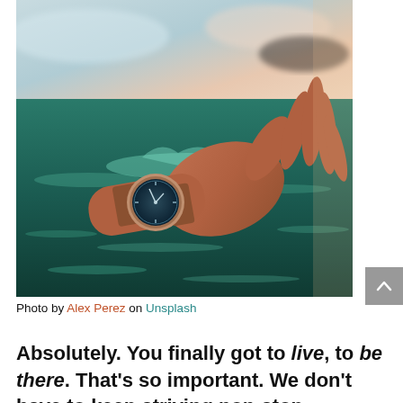[Figure (photo): A close-up photo of a hand emerging from rippling greenish water, wearing an analog wristwatch with a dark face and gold/rose-gold casing. The background shows blurred sky with warm tones.]
Photo by Alex Perez on Unsplash
Absolutely. You finally got to live, to be there. That's so important. We don't have to keep striving non-stop